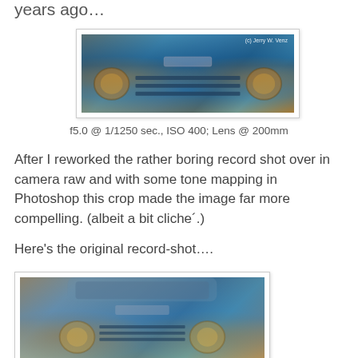years ago…
[Figure (photo): Close-up front view of a rusty old blue truck grill with HDR tone mapping, watermark reads '(c) Jerry W. Venz']
f5.0 @ 1/1250 sec., ISO 400; Lens @ 200mm
After I reworked the rather boring record shot over in camera raw and with some tone mapping in Photoshop this crop made the image far more compelling. (albeit a bit cliche´.)
Here's the original record-shot….
[Figure (photo): Original record shot of the same old blue truck, front view showing full cab, slightly less processed/dramatic]